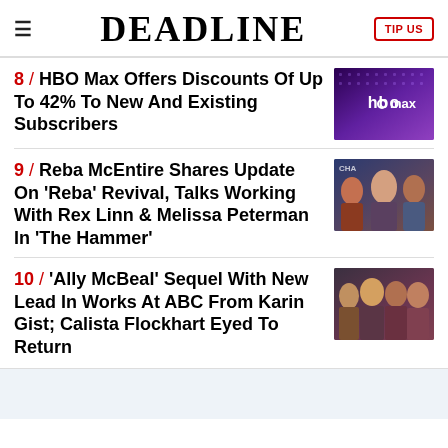DEADLINE
8 / HBO Max Offers Discounts Of Up To 42% To New And Existing Subscribers
9 / Reba McEntire Shares Update On 'Reba' Revival, Talks Working With Rex Linn & Melissa Peterman In 'The Hammer'
10 / 'Ally McBeal' Sequel With New Lead In Works At ABC From Karin Gist; Calista Flockhart Eyed To Return